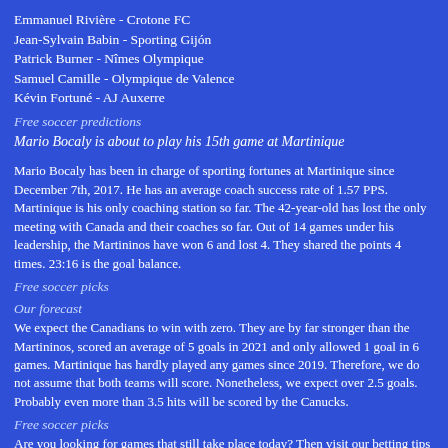Emmanuel Rivière - Crotone FC
Jean-Sylvain Babin - Sporting Gijón
Patrick Burner - Nîmes Olympique
Samuel Camille - Olympique de Valence
Kévin Fortuné - AJ Auxerre
Free soccer predictions
Mario Bocaly is about to play his 15th game at Martinique
Mario Bocaly has been in charge of sporting fortunes at Martinique since December 7th, 2017. He has an average coach success rate of 1.57 PPS. Martinique is his only coaching station so far. The 42-year-old has lost the only meeting with Canada and their coaches so far. Out of 14 games under his leadership, the Martininos have won 6 and lost 4. They shared the points 4 times. 23:16 is the goal balance.
Free soccer picks
Our forecast
We expect the Canadians to win with zero. They are by far stronger than the Martininos, scored an average of 5 goals in 2021 and only allowed 1 goal in 6 games. Martinique has hardly played any games since 2019. Therefore, we do not assume that both teams will score. Nonetheless, we expect over 2.5 goals. Probably even more than 3.5 hits will be scored by the Canucks.
Free soccer picks
Are you looking for games that still take place today? Then visit our betting tips page for today's games: